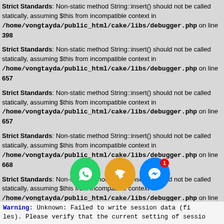Strict Standards: Non-static method String::insert() should not be called statically, assuming $this from incompatible context in /home/vongtayda/public_html/cake/libs/debugger.php on line 398
Strict Standards: Non-static method String::insert() should not be called statically, assuming $this from incompatible context in /home/vongtayda/public_html/cake/libs/debugger.php on line 657
Strict Standards: Non-static method String::insert() should not be called statically, assuming $this from incompatible context in /home/vongtayda/public_html/cake/libs/debugger.php on line 657
Strict Standards: Non-static method String::insert() should not be called statically, assuming $this from incompatible context in /home/vongtayda/public_html/cake/libs/debugger.php on line 668
Strict Standards: Non-static method String::insert() should not be called statically, assuming $this from incompatible context in /home/vongtayda/public_html/cake/libs/debugger.php on line 668
Strict Standards: Non-static method String::insert() should not be called statically, assuming $this from incompatible context in /home/vongtayda/public_html/cake/libs/debugger.php on line 673
Warning: Unknown: Failed to write session data (files). Please verify that the current setting of sessio